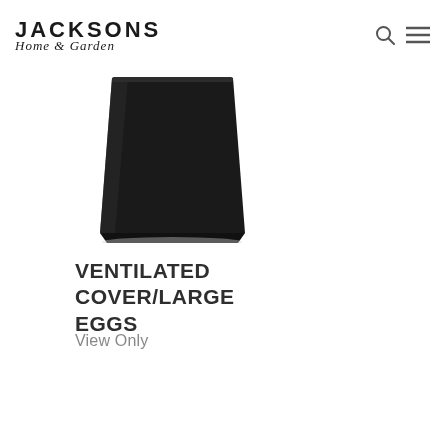Jacksons Home & Garden
[Figure (photo): A black ventilated cover/grill cover product shown in standalone product photo against white background]
VENTILATED COVER/LARGE EGGS
View Only